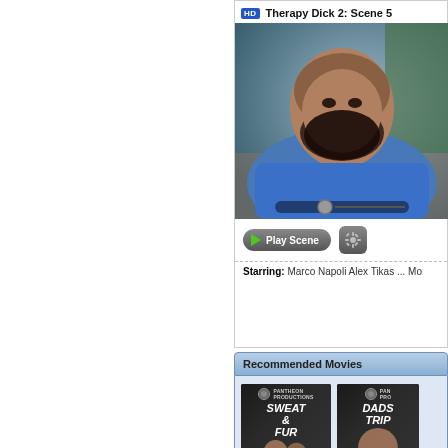[Figure (screenshot): Video scene thumbnail showing a bearded man in a blue shirt seated on a couch, with a scrubber bar overlay at the bottom]
HD Therapy Dick 2: Scene 5
Play Scene (button) and settings gear button
Starring: Marco Napoli  Alex Tikas ... Mo
Recommended Movies
[Figure (photo): Movie cover for Sweat & Fur by Pantheon Productions]
[Figure (photo): Movie cover for Dads Trip by Pantheon Productions]